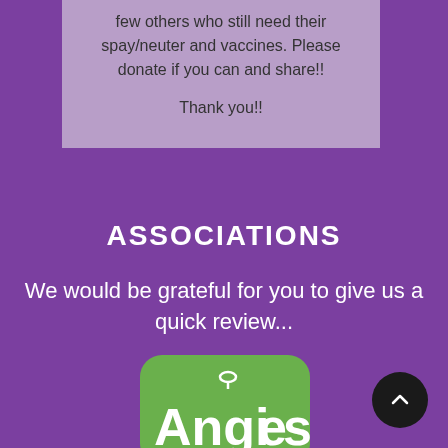few others who still need their spay/neuter and vaccines. Please donate if you can and share!! Thank you!!
ASSOCIATIONS
We would be grateful for you to give us a quick review...
[Figure (logo): Angie's List logo - green rounded square with white Angies text and a small icon above the letter i]